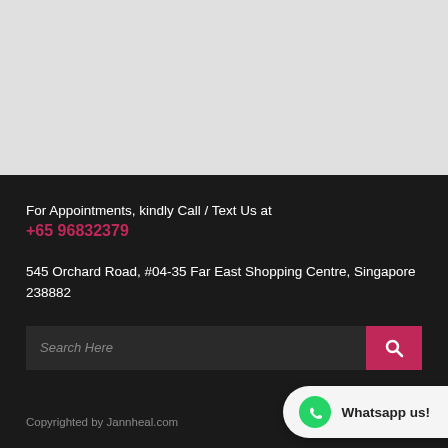For Appointments, kindly Call / Text Us at
+65 96832379
545 Orchard Road, #04-35 Far East Shopping Centre, Singapore 238882
Search Here
Copyrighted by Jannheal.com
Whatsapp us!